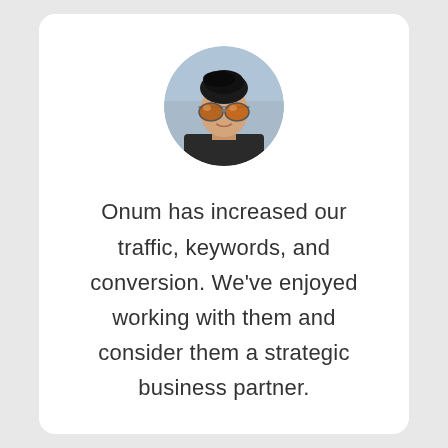[Figure (photo): Circular avatar photo of a young man wearing aviator sunglasses with reflective orange lenses, dark hair styled upward, blurred urban background]
Onum has increased our traffic, keywords, and conversion. We've enjoyed working with them and consider them a strategic business partner.